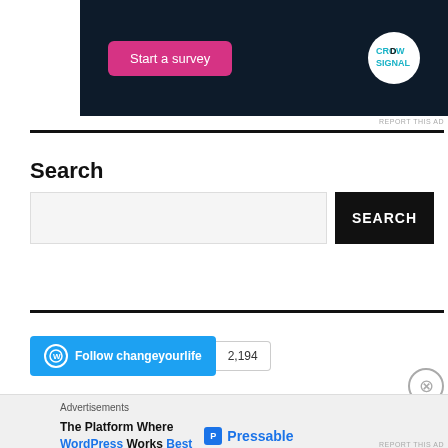[Figure (screenshot): Dark navy banner ad with pink 'Start a survey' button on the left and Crowdsignal circular logo on the right]
REPORT THIS AD
Search
[Figure (screenshot): Search bar with text input field and black SEARCH button]
[Figure (screenshot): WordPress Follow changeyourlife button with 2,194 follower count]
Advertisements
[Figure (screenshot): Pressable advertisement: The Platform Where WordPress Works Best]
REPORT THIS AD